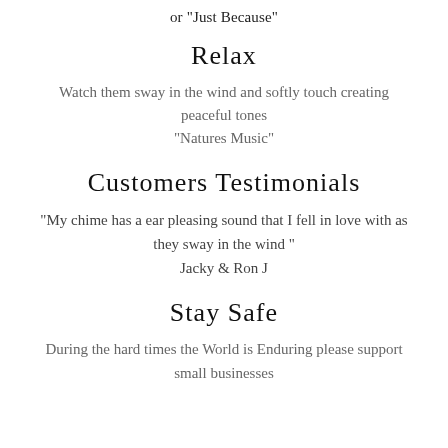or "Just Because"
Relax
Watch them sway in the wind and softly touch creating peaceful tones
"Natures Music"
Customers Testimonials
"My chime has a ear pleasing sound that I fell in love with as they sway in the wind "
Jacky & Ron J
Stay Safe
During the hard times the World is Enduring please support small businesses